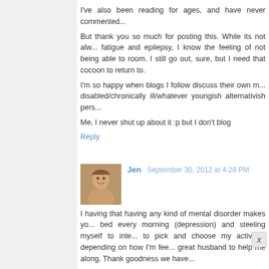I've also been reading for ages, and have never commented...
But thank you so much for posting this. While its not always fatigue and epilepsy, I know the feeling of not being able to room. I still go out, sure, but I need that cocoon to return to.
I'm so happy when blogs I follow discuss their own m... disabled/chronically ill/whatever youngish alternativish pers...
Me, I never shut up about it :p but I don't blog
Reply
Jen  September 30, 2012 at 4:28 PM
I having that having any kind of mental disorder makes yo... bed every morning (depression) and steeling myself to inte... to pick and choose my activities depending on how I'm fee... great husband to help me along. Thank goodness we have...
Reply
KT Jayne  September 30, 2012 at 4:31 PM
As someone who can't always handle down escalator... There've been a lot of 'whoops I need to detour com...